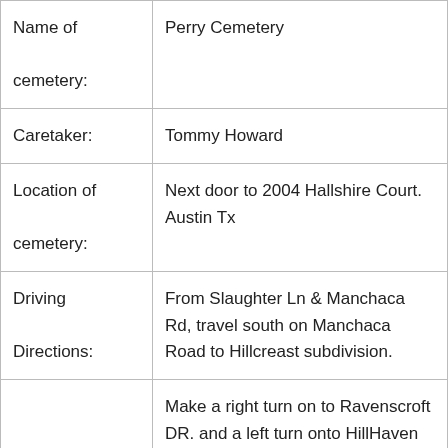| Field | Value |
| --- | --- |
| Name of cemetery: | Perry Cemetery |
| Caretaker: | Tommy Howard |
| Location of cemetery: | Next door to 2004 Hallshire Court. Austin Tx |
| Driving Directions: | From Slaughter Ln & Manchaca Rd, travel south on Manchaca Road to Hillcreast subdivision. |
|  | Make a right turn on to Ravenscroft DR. and a left turn onto HillHaven DR. Right turn on Hallshire Ct. Cemetery is at end |